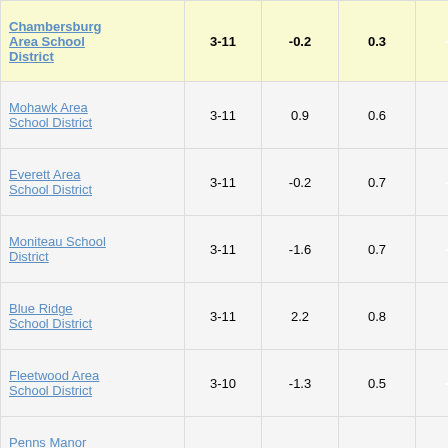| School District | Grades | Col3 | Col4 | Score |
| --- | --- | --- | --- | --- |
| Chambersburg Area School District | 3-11 | -0.2 | 0.3 | -0.63 |
| Mohawk Area School District | 3-11 | 0.9 | 0.6 | 1.42 |
| Everett Area School District | 3-11 | -0.2 | 0.7 | -0.26 |
| Moniteau School District | 3-11 | -1.6 | 0.7 | -2.24 |
| Blue Ridge School District | 3-11 | 2.2 | 0.8 | 2.90 |
| Fleetwood Area School District | 3-10 | -1.3 | 0.5 | -2.54 |
| Penns Manor Area School District | 3-12 | 1.6 | 0.8 | 1.96 |
| Commonwealth Charter Academy | 3-10 | -3.1 | 0.9 | -3.43 |